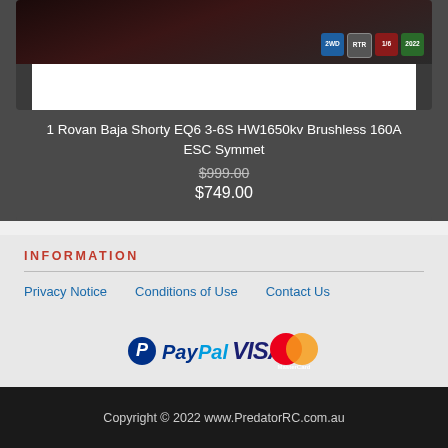[Figure (photo): Product image area showing RC car with dark background, white bar in middle, and badges for 2WD, RTR, 1/6, and 2022]
1 Rovan Baja Shorty EQ6 3-6S HW1650kv Brushless 160A ESC Symmet
$999.00
$749.00
INFORMATION
Privacy Notice   Conditions of Use   Contact Us
[Figure (logo): PayPal, VISA, and MasterCard payment logos]
Copyright © 2022 www.PredatorRC.com.au